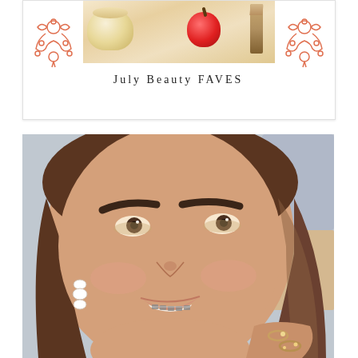[Figure (photo): Blog post card showing beauty products (cream jar, apple, lipstick) with decorative coral ornaments on left and right sides]
July Beauty FAVES
[Figure (photo): Close-up selfie of a smiling young woman with brown hair, thick eyebrows, neutral makeup, wearing white statement earrings and rings, with braces visible]